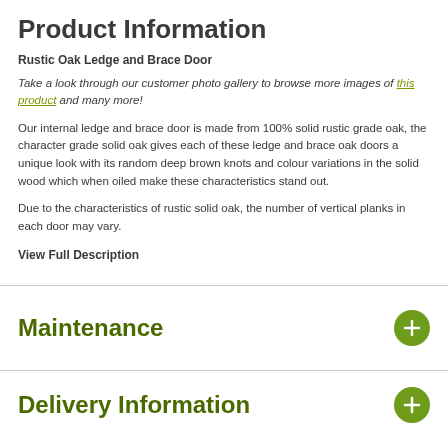Product Information
Rustic Oak Ledge and Brace Door
Take a look through our customer photo gallery to browse more images of this product and many more!
Our internal ledge and brace door is made from 100% solid rustic grade oak, the character grade solid oak gives each of these ledge and brace oak doors a unique look with its random deep brown knots and colour variations in the solid wood which when oiled make these characteristics stand out.
Due to the characteristics of rustic solid oak, the number of vertical planks in each door may vary.
View Full Description
Maintenance
Delivery Information